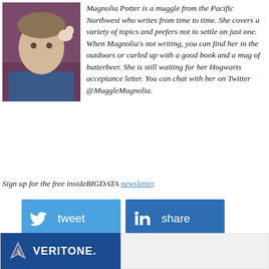Magnolia Potter is a muggle from the Pacific Northwest who writes from time to time. She covers a variety of topics and prefers not to settle on just one. When Magnolia's not writing, you can find her in the outdoors or curled up with a good book and a mug of butterbeer. She is still waiting for her Hogwarts acceptance letter. You can chat with her on Twitter @MuggleMagnolia.
Sign up for the free insideBIGDATA newsletter.
[Figure (other): Social sharing buttons: tweet (Twitter, blue), share (LinkedIn, dark blue), share (Facebook, dark blue/purple), share (Reddit, orange), email (grey)]
[Figure (logo): Veritone advertisement with logo on dark blue background]